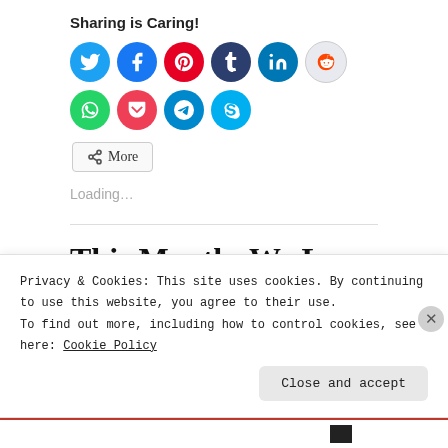Sharing is Caring!
[Figure (infographic): Row of 10 social media sharing icon circles: Twitter (cyan), Facebook (blue), Pinterest (red), Tumblr (dark blue), LinkedIn (teal), Reddit (light blue/white), WhatsApp (green), Pocket (red), Telegram (blue), Skype (cyan)]
More
Loading…
This Month: We Love Our Rea...
Privacy & Cookies: This site uses cookies. By continuing to use this website, you agree to their use.
To find out more, including how to control cookies, see here: Cookie Policy
Close and accept